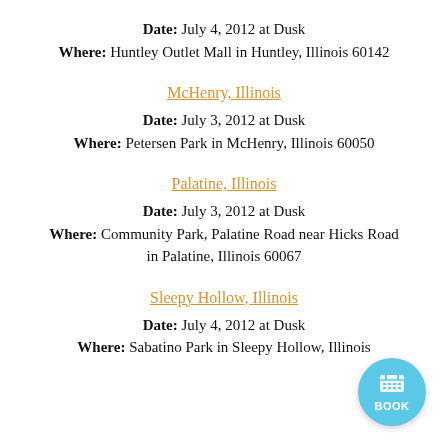Date: July 4, 2012 at Dusk
Where: Huntley Outlet Mall in Huntley, Illinois 60142
McHenry, Illinois
Date: July 3, 2012 at Dusk
Where: Petersen Park in McHenry, Illinois 60050
Palatine, Illinois
Date: July 3, 2012 at Dusk
Where: Community Park, Palatine Road near Hicks Road in Palatine, Illinois 60067
Sleepy Hollow, Illinois
Date: July 4, 2012 at Dusk
Where: Sabatino Park in Sleepy Hollow, Illinois